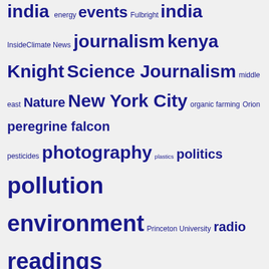india energy events Fulbright india InsideClimate News journalism kenya Knight Science Journalism middle east Nature New York City organic farming Orion peregrine falcon pesticides photography plastics politics pollution environment Princeton University radio readings religion reviews science Society of Environmental Journalists teaching Texas travel USA vulture water
Archives by Month
Select Month
Connect